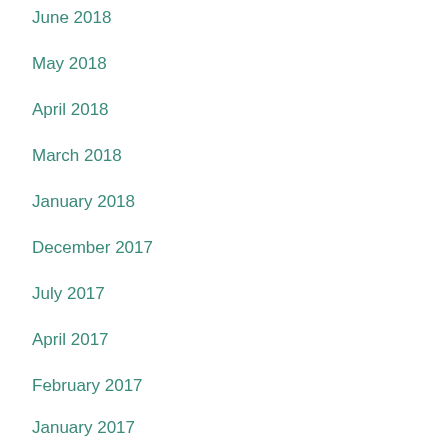June 2018
May 2018
April 2018
March 2018
January 2018
December 2017
July 2017
April 2017
February 2017
January 2017